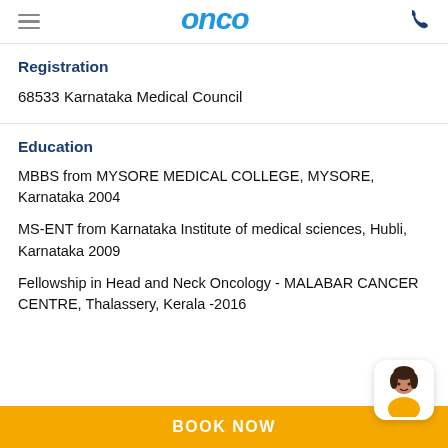ONCO
Registration
68533 Karnataka Medical Council
Education
MBBS from MYSORE MEDICAL COLLEGE, MYSORE, Karnataka 2004
MS-ENT from Karnataka Institute of medical sciences, Hubli, Karnataka 2009
Fellowship in Head and Neck Oncology - MALABAR CANCER CENTRE, Thalassery, Kerala -2016
BOOK NOW